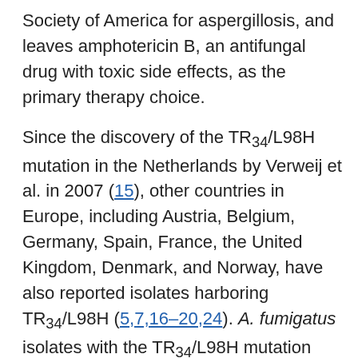Society of America for aspergillosis, and leaves amphotericin B, an antifungal drug with toxic side effects, as the primary therapy choice.
Since the discovery of the TR34/L98H mutation in the Netherlands by Verweij et al. in 2007 (15), other countries in Europe, including Austria, Belgium, Germany, Spain, France, the United Kingdom, Denmark, and Norway, have also reported isolates harboring TR34/L98H (5,7,16–20,24). A. fumigatus isolates with the TR34/L98H mutation have also been reported in China, India, and Iran (1,4,6,21). Because of rapid increase in detection of the TR34/L98H mutation in many regions and its adverse effect on patient management, isolates harboring this mutation pose a serious public health threat. Isolates bearing the TR34/L98H mutation have not been documented in United States, but given the number of aspergillosis